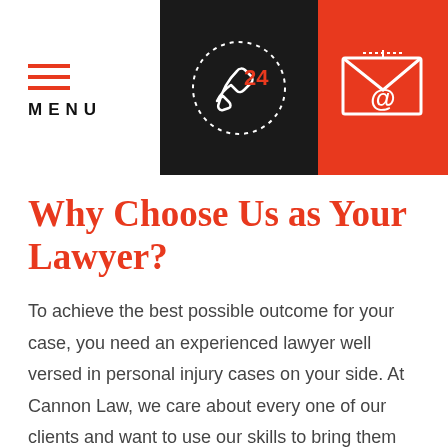[Figure (infographic): Navigation header bar with three sections: a hamburger menu icon with 'MENU' text on white background, a phone/24h icon on dark background, and an email envelope icon on orange/red background]
Why Choose Us as Your Lawyer?
To achieve the best possible outcome for your case, you need an experienced lawyer well versed in personal injury cases on your side. At Cannon Law, we care about every one of our clients and want to use our skills to bring them the best results at the negotiation table and in court. That's why we take the time to understand your particular